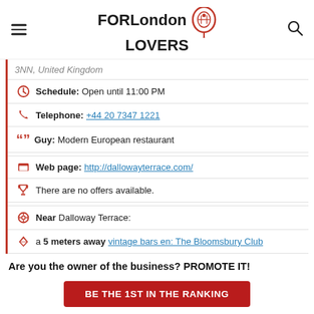FOR London LOVERS
3NN, United Kingdom
Schedule: Open until 11:00 PM
Telephone: +44 20 7347 1221
Guy: Modern European restaurant
Web page: http://dallowayterrace.com/
There are no offers available.
Near Dalloway Terrace:
a 5 meters away vintage bars en: The Bloomsbury Club
Are you the owner of the business? PROMOTE IT!
BE THE 1ST IN THE RANKING